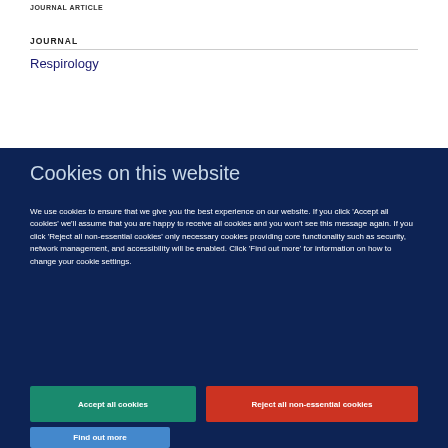JOURNAL ARTICLE
JOURNAL
Respirology
Cookies on this website
We use cookies to ensure that we give you the best experience on our website. If you click 'Accept all cookies' we'll assume that you are happy to receive all cookies and you won't see this message again. If you click 'Reject all non-essential cookies' only necessary cookies providing core functionality such as security, network management, and accessibility will be enabled. Click 'Find out more' for information on how to change your cookie settings.
Accept all cookies
Reject all non-essential cookies
Find out more